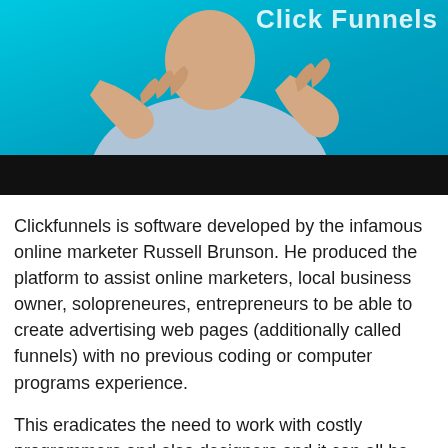[Figure (photo): A man in a light blue shirt gesturing with his hands against a bright cyan/turquoise background. Partially visible text 'Click Funnels' in white at the top. A solid black bar runs across the bottom portion of the image.]
Clickfunnels is software developed by the infamous online marketer Russell Brunson. He produced the platform to assist online marketers, local business owner, solopreneures, entrepreneurs to be able to create advertising web pages (additionally called funnels) with no previous coding or computer programs experience.
This eradicates the need to work with costly programmers and also designers and it can all be done from the done in one system Clickfunnels conserving you money and freeing up the